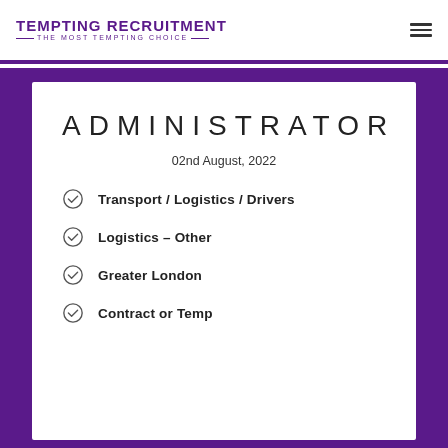TEMPTING RECRUITMENT — THE MOST TEMPTING CHOICE —
ADMINISTRATOR
02nd August, 2022
Transport / Logistics / Drivers
Logistics – Other
Greater London
Contract or Temp